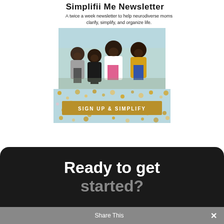Simplifii Me Newsletter
A twice a week newsletter to help neurodiverse moms clarify, simplify, and organize life.
[Figure (photo): Four Black women laughing and posing together outdoors on a street, against a light blue background card]
[Figure (infographic): Light blue confetti-dotted background with gold button reading SIGN UP & SIMPLIFY]
SIGN UP & SIMPLIFY
Ready to get started?
Share This